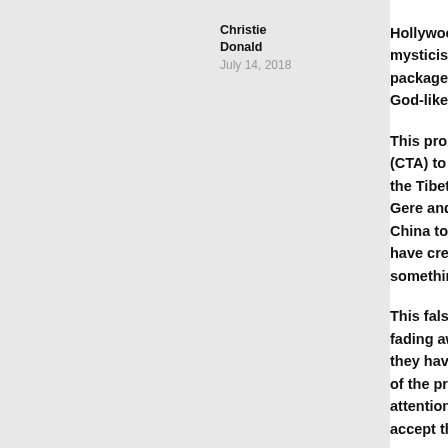Christie Donald
July 14, 2018
Hollywood is one of the most influential groups of mysticism of Buddhist Tantra to the world. Together packaged Tibetan Buddhism and Tibetan lamas int God-like beings who are able to lead people along
This propaganda has been widely exploited by the (CTA) to garner support, especially financial aid, fo the Tibetan struggle against Chinese rule. Little do Gere and the so-called Buddhist Professor Robert China to improve the infrastructure and standard o have created opportunities for Tibetans to grow an something that is rarely seen in exile under the gov
This false image that has been promoted for the pa fading away as more and more victims come forwa they have suffered under the hands of Tibetan lam of the problem is clear, people are greedy and lazy attention. Since they get these from the Tibetan la accept the exploitation. This is further driven by fe seen as the privileged ones in the inner circle if the be seen showing tremendous devotion to their gu knowledge of Buddhism, this cult-like group of Ho politicians like Richard Gere continue to generate r version of the "Dharma", while real Buddhist maste